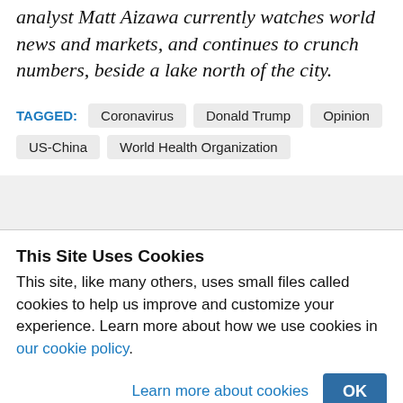analyst Matt Aizawa currently watches world news and markets, and continues to crunch numbers, beside a lake north of the city.
TAGGED: Coronavirus   Donald Trump   Opinion   US-China   World Health Organization
This Site Uses Cookies
This site, like many others, uses small files called cookies to help us improve and customize your experience. Learn more about how we use cookies in our cookie policy.
Learn more about cookies   OK